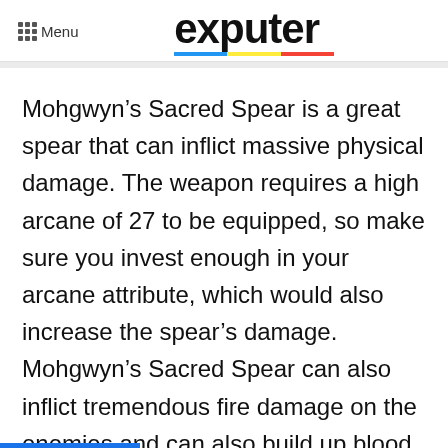Menu | exputer
Mohgwyn’s Sacred Spear is a great spear that can inflict massive physical damage. The weapon requires a high arcane of 27 to be equipped, so make sure you invest enough in your arcane attribute, which would also increase the spear’s damage. Mohgwyn’s Sacred Spear can also inflict tremendous fire damage on the enemies and can also build up blood loss immensely on the enemies, so its attack potential makes it one of the best Elden Ring arcane weapons. You